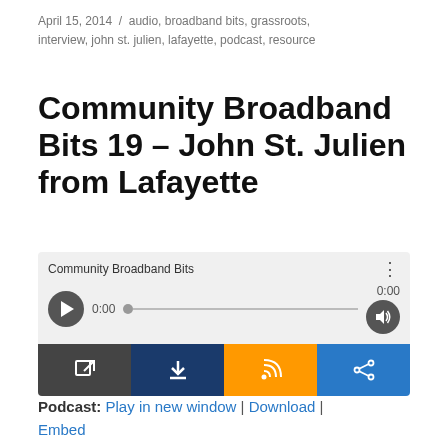April 15, 2014 / audio, broadband bits, grassroots, interview, john st. julien, lafayette, podcast, resource
Community Broadband Bits 19 – John St. Julien from Lafayette
[Figure (screenshot): Audio player widget for Community Broadband Bits podcast with play button, scrubber, volume control, and action buttons for open, download, RSS, and share]
Podcast: Play in new window | Download | Embed